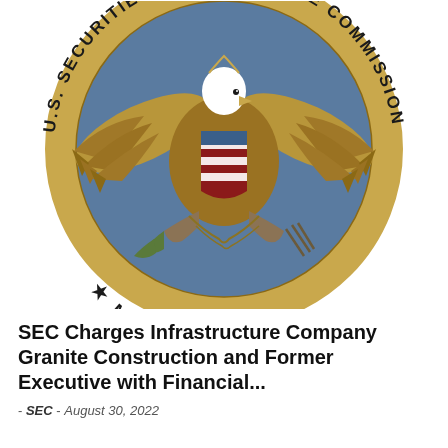[Figure (logo): U.S. Securities and Exchange Commission official seal/logo. A circular seal with blue background, gold/yellow border ring with text 'U.S. SECURITIES AND EXCHANGE COMMISSION' and Roman numerals 'MCMXXXIV' at bottom with two stars. Center shows a bald eagle with wings spread, holding an olive branch and arrows, with a shield on its chest. The eagle is partially cropped at top.]
SEC Charges Infrastructure Company Granite Construction and Former Executive with Financial...
- SEC - August 30, 2022